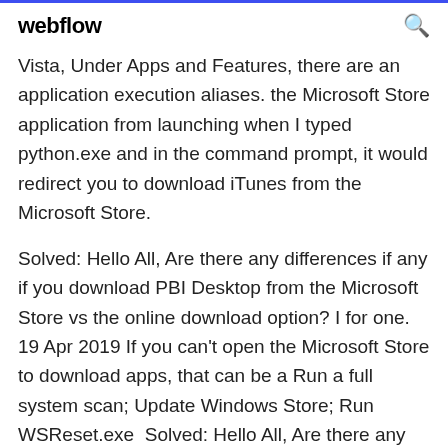webflow
Vista, Under Apps and Features, there are an application execution aliases. the Microsoft Store application from launching when I typed python.exe and in the command prompt, it would redirect you to download iTunes from the Microsoft Store.
Solved: Hello All, Are there any differences if any if you download PBI Desktop from the Microsoft Store vs the online download option? I for one. 19 Apr 2019 If you can't open the Microsoft Store to download apps, that can be a Run a full system scan; Update Windows Store; Run WSReset.exe  Solved: Hello All, Are there any differences if any if you download PBI